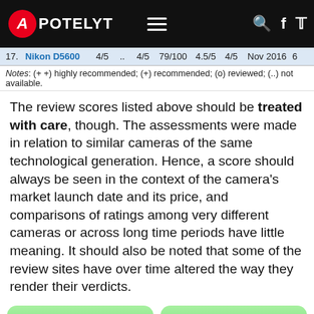APOTELYT
| # | Name | Score1 | ... | Score2 | Score3 | Score4 | Score5 | Date |  |
| --- | --- | --- | --- | --- | --- | --- | --- | --- | --- |
| 17. | Nikon D5600 | 4/5 | .. | 4/5 | 79/100 | 4.5/5 | 4/5 | Nov 2016 | 6 |
Notes: (++) highly recommended; (+) recommended; (o) reviewed; (..) not available.
The review scores listed above should be treated with care, though. The assessments were made in relation to similar cameras of the same technological generation. Hence, a score should always be seen in the context of the camera's market launch date and its price, and comparisons of ratings among very different cameras or across long time periods have little meaning. It should also be noted that some of the review sites have over time altered the way they render their verdicts.
[Figure (other): Canon 800D offers at ebay.com advertisement card]
[Figure (other): Leica M Typ 262 offers at ebay.com advertisement card]
Other camera comparisons